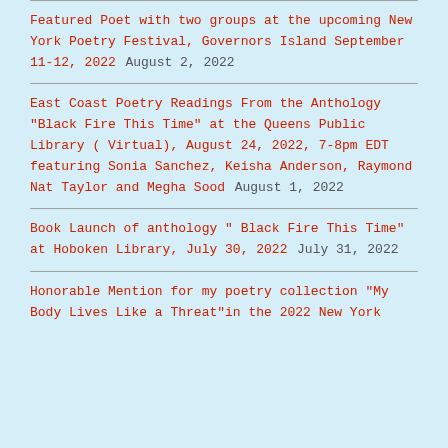Featured Poet with two groups at the upcoming New York Poetry Festival, Governors Island September 11-12, 2022 August 2, 2022
East Coast Poetry Readings From the Anthology "Black Fire This Time" at the Queens Public Library ( Virtual), August 24, 2022, 7-8pm EDT featuring Sonia Sanchez, Keisha Anderson, Raymond Nat Taylor and Megha Sood August 1, 2022
Book Launch of anthology " Black Fire This Time" at Hoboken Library, July 30, 2022 July 31, 2022
Honorable Mention for my poetry collection "My Body Lives Like a Threat"in the 2022 New York